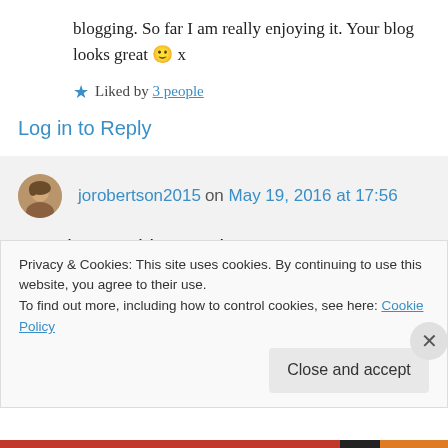blogging. So far I am really enjoying it. Your blog looks great 🙂 x
★ Liked by 3 people
Log in to Reply
jorobertson2015 on May 19, 2016 at 17:56
Another newbie! Lovely to meet you! You have reviewed similar books to me so I was interested to...
Privacy & Cookies: This site uses cookies. By continuing to use this website, you agree to their use. To find out more, including how to control cookies, see here: Cookie Policy
Close and accept